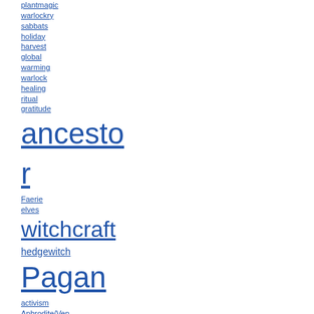plantmagic
warlockry
sabbats
holiday
harvest
global warming
warlock
healing
ritual
gratitude
ancestors
Faerie
elves
witchcraft
hedgewitch
Pagan
activism
Aphrodite/Venus
White Mountain Druid Sanctuary
Pagan Fiction
sabbat
jewelry
relationship
women
priestess
Native American
sacrifice
tree magic
rituals
theology